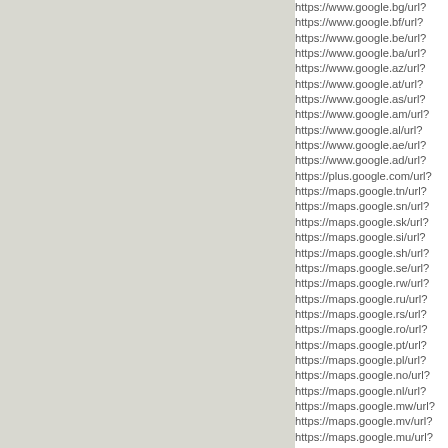[Figure (other): Gray rectangular panel on the left side of the page]
https://www.google.bg/url?
https://www.google.bf/url?
https://www.google.be/url?
https://www.google.ba/url?
https://www.google.az/url?
https://www.google.at/url?
https://www.google.as/url?
https://www.google.am/url?
https://www.google.al/url?
https://www.google.ae/url?
https://www.google.ad/url?
https://plus.google.com/url?
https://maps.google.tn/url?
https://maps.google.sn/url?
https://maps.google.sk/url?
https://maps.google.si/url?
https://maps.google.sh/url?
https://maps.google.se/url?
https://maps.google.rw/url?
https://maps.google.ru/url?
https://maps.google.rs/url?
https://maps.google.ro/url?
https://maps.google.pt/url?
https://maps.google.pl/url?
https://maps.google.no/url?
https://maps.google.nl/url?
https://maps.google.mw/url?
https://maps.google.mv/url?
https://maps.google.mu/url?
https://maps.google.ms/url?
https://maps.google...